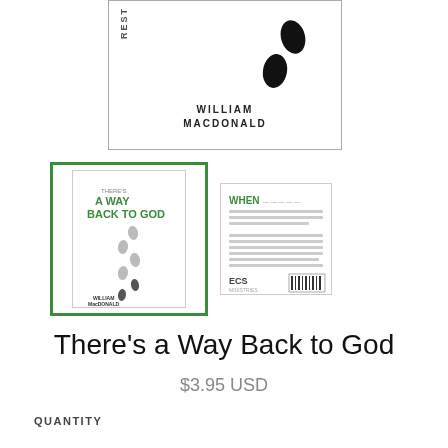[Figure (photo): Top portion of a book cover showing 'REST' written vertically on the left, two black footprint shapes on the right, and 'WILLIAM MACDONALD' in bold letters at the bottom center.]
[Figure (photo): Thumbnail of front book cover for 'There's a Way Back to God' by William MacDonald, with green border. Shows title text in green and footprints leading down to the author name.]
[Figure (photo): Thumbnail of back book cover showing 'WHEN' heading text, paragraph body text, ECS Ministries logo, and a barcode.]
There's a Way Back to God
$3.95 USD
QUANTITY